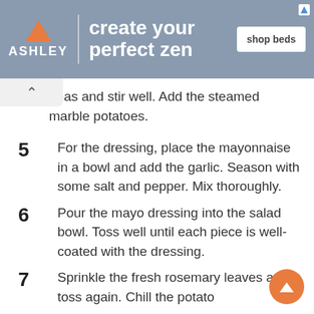[Figure (other): Ashley Furniture advertisement banner with logo, tagline 'create your perfect zen', and 'shop beds' button]
peas and stir well. Add the steamed marble potatoes.
5  For the dressing, place the mayonnaise in a bowl and add the garlic. Season with some salt and pepper. Mix thoroughly.
6  Pour the mayo dressing into the salad bowl. Toss well until each piece is well-coated with the dressing.
7  Sprinkle the fresh rosemary leaves and toss again. Chill the potato